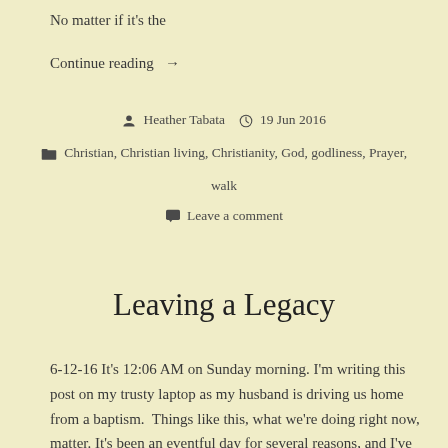No matter if it's the
Continue reading →
Heather Tabata   19 Jun 2016
Christian, Christian living, Christianity, God, godliness, Prayer, walk
Leave a comment
Leaving a Legacy
6-12-16 It's 12:06 AM on Sunday morning. I'm writing this post on my trusty laptop as my husband is driving us home from a baptism.  Things like this, what we're doing right now, matter. It's been an eventful day for several reasons, and I've had some things on my mind